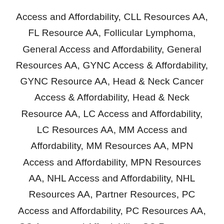Access and Affordability, CLL Resources AA, FL Resource AA, Follicular Lymphoma, General Access and Affordability, General Resources AA, GYNC Access & Affordability, GYNC Resource AA, Head & Neck Cancer Access & Affordability, Head & Neck Resource AA, LC Access and Affordability, LC Resources AA, MM Access and Affordability, MM Resources AA, MPN Access and Affordability, MPN Resources AA, NHL Access and Affordability, NHL Resources AA, Partner Resources, PC Access and Affordability, PC Resources AA, SC Access and Affordability, SC Resources AA, Thyroid Cancer Access & Affordability, Thyroid Cancer Resource AA, Triage Cancer, Waldenstrom, Waldenstrom Resource AA / by Kara Rayburn
This guide was originally published by our